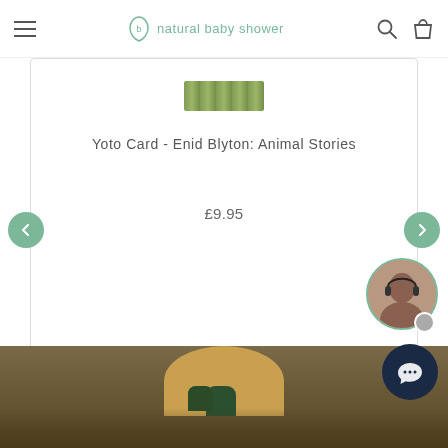natural baby shower
[Figure (screenshot): Product card showing Yoto Card - Enid Blyton: Animal Stories with price £9.95 and Shop Now button, carousel navigation arrows, and a chat support widget with agent avatar]
[Figure (photo): Bottom portion of page showing a person wearing a tan knit beanie hat and dark green gloves outdoors in nature]